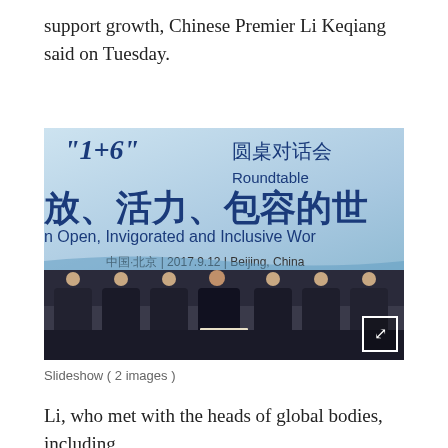support growth, Chinese Premier Li Keqiang said on Tuesday.
[Figure (photo): Photo of the '1+6' Roundtable event in Beijing, China on 2017.9.12. A large banner reads '‘1+6’ 圆桌对话会 Roundtable' and '放、活力、包容的世 / n Open, Invigorated and Inclusive Wor'. Chinese Premier Li Keqiang and six officials are seated at a long table in front of the banner. Location: 中国·北京 | 2017.9.12 | Beijing, China]
Slideshow ( 2 images )
Li, who met with the heads of global bodies, including